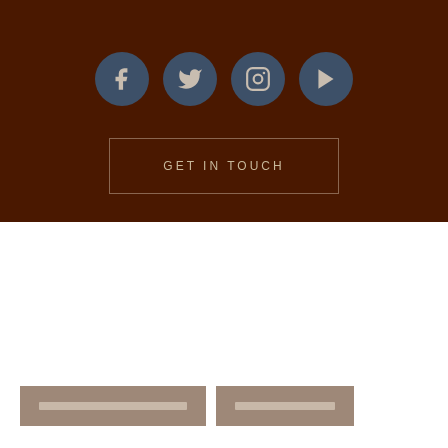[Figure (infographic): Dark brown top section with four social media icons (Facebook, Twitter, Instagram, YouTube) in dark blue-grey circles, and a 'GET IN TOUCH' button outlined in brown]
GET IN TOUCH
[Figure (infographic): White bottom section with two brownish-grey blurred button/banner elements at the bottom left]